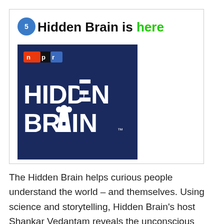Hidden Brain is here
[Figure (logo): NPR Hidden Brain podcast logo — dark navy blue square with NPR logo in top left and large white text reading HIDDEN BRAIN]
The Hidden Brain helps curious people understand the world – and themselves. Using science and storytelling, Hidden Brain's host Shankar Vedantam reveals the unconscious patterns that drive human behavior, the biases that shape our choices, and the triggers that direct the